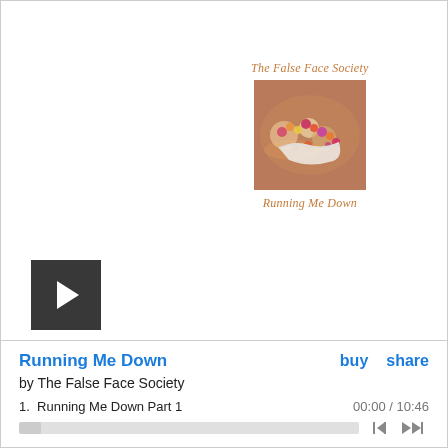The False Face Society
[Figure (photo): Album cover photo showing floral arrangement on sandy/earthy ground]
Running Me Down
[Figure (other): Dark square play button with white triangle]
Running Me Down
buy   share
by The False Face Society
1.  Running Me Down Part 1   00:00 / 10:46
[Figure (other): Audio progress bar with seek controls]